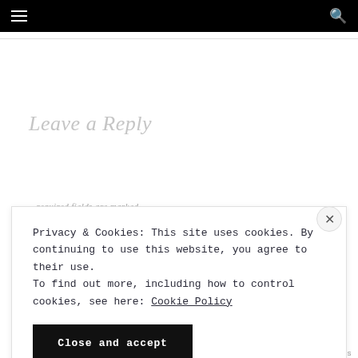Navigation bar with hamburger menu and search icon
Leave a Reply
...required fields...
Privacy & Cookies: This site uses cookies. By continuing to use this website, you agree to their use.
To find out more, including how to control cookies, see here: Cookie Policy
Close and accept
REPRODUCTIONS